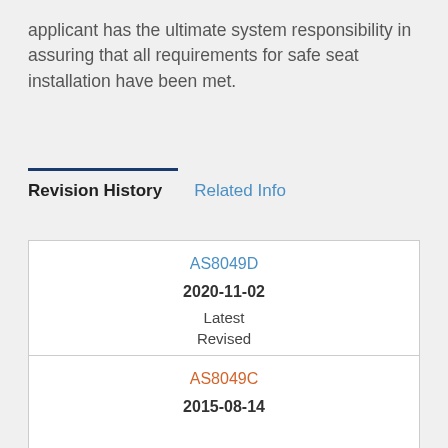applicant has the ultimate system responsibility in assuring that all requirements for safe seat installation have been met.
Revision History
Related Info
| AS8049D | 2020-11-02 | Latest | Revised |
| AS8049C | 2015-08-14 |  |  |